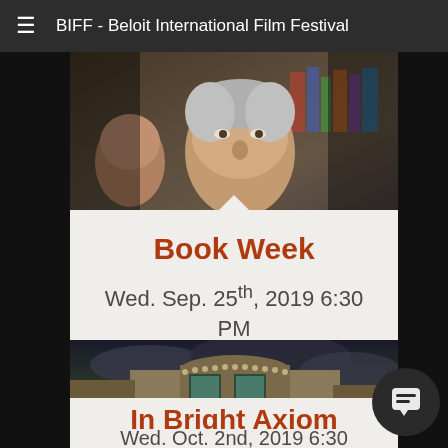BIFF - Beloit International Film Festival
[Figure (photo): Close-up of an older man's face, film still from Book Week]
Book Week
Wed. Sep. 25th, 2019 6:30 PM
[Figure (photo): Victorian-style building exterior with dark stormy sky, film still from In Bright Axiom]
In Bright Axiom
Wed. Oct. 2nd, 2019 6:30